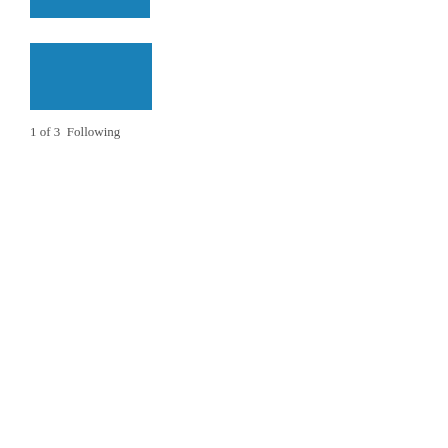[Figure (other): Blue rectangle bar at the top of the page]
[Figure (other): Larger blue rectangle bar in the upper portion of the page]
1 of 3  Following